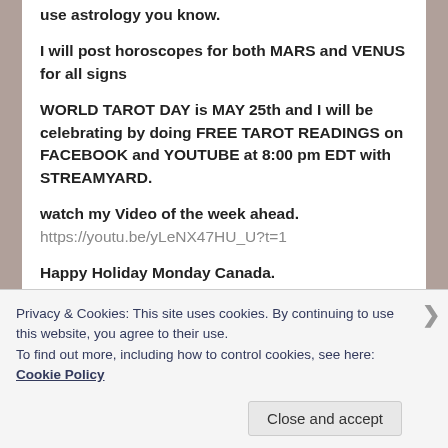use astrology you know.
I will post horoscopes for both MARS and VENUS for all signs
WORLD TAROT DAY is MAY 25th and I will be celebrating by doing FREE TAROT READINGS on FACEBOOK and YOUTUBE at 8:00 pm EDT with STREAMYARD.
watch my Video of the week ahead.
https://youtu.be/yLeNX47HU_U?t=1
Happy Holiday Monday Canada.
Privacy & Cookies: This site uses cookies. By continuing to use this website, you agree to their use.
To find out more, including how to control cookies, see here: Cookie Policy
Close and accept